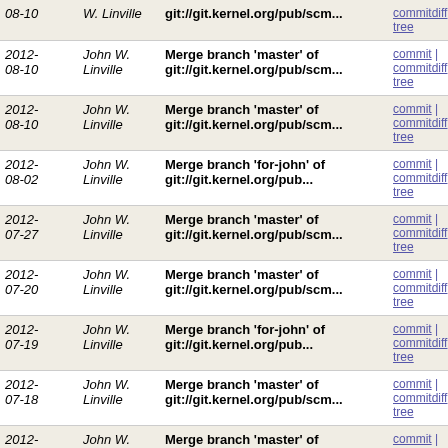| Date | Author | Message | Links |
| --- | --- | --- | --- |
| 2012-08-10 | John W. Linville | Merge branch 'master' of git://git.kernel.org/pub/scm... | commit | commitdiff | tree |
| 2012-08-10 | John W. Linville | Merge branch 'master' of git://git.kernel.org/pub/scm... | commit | commitdiff | tree |
| 2012-08-02 | John W. Linville | Merge branch 'for-john' of git://git.kernel.org/pub... | commit | commitdiff | tree |
| 2012-07-27 | John W. Linville | Merge branch 'master' of git://git.kernel.org/pub/scm... | commit | commitdiff | tree |
| 2012-07-20 | John W. Linville | Merge branch 'master' of git://git.kernel.org/pub/scm... | commit | commitdiff | tree |
| 2012-07-19 | John W. Linville | Merge branch 'for-john' of git://git.kernel.org/pub... | commit | commitdiff | tree |
| 2012-07-18 | John W. Linville | Merge branch 'master' of git://git.kernel.org/pub/scm... | commit | commitdiff | tree |
| 2012-07-17 | John W. Linville | Merge branch 'master' of git://git.kernel.org/pub/scm... | commit | commitdiff | tree |
| 2012-07-17 | John W. Linville | Merge branch 'for-john' of git://git.kernel.org/pub... | commit | commitdiff |